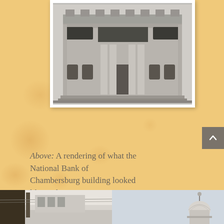[Figure (photo): Black and white architectural rendering of the National Bank of Chambersburg building facade, showing classical columns, decorative stonework, and large windows, as it appeared in the 1920s.]
Above: A rendering of what the National Bank of Chambersburg building looked like in the 1920's.
[Figure (photo): Bottom strip showing two partial photographs: left side shows a street-level view with a dark building element, right side shows a domed structure against a light sky.]